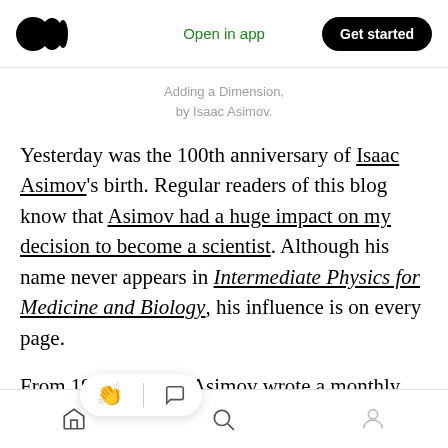Open in app | Get started
Adding a Dimension,
by Isaac Asimov.
Yesterday was the 100th anniversary of Isaac Asimov's birth. Regular readers of this blog know that Asimov had a huge impact on my decision to become a scientist. Although his name never appears in Intermediate Physics for Medicine and Biology, his influence is on every page.
From 1959 to 1992, Asimov wrote a monthly essay for The Magazine of Fantasy & Science Fiction. Of all his writings, this series of essays
[home] [search] [profile]